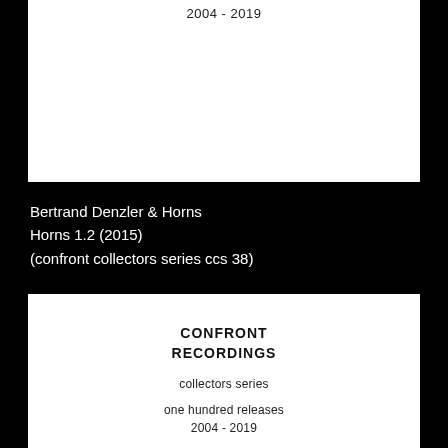2004 - 2019
Bertrand Denzler & Horns
Horns 1.2 (2015)
(confront collectors series ccs 38)
CONFRONT RECORDINGS
collectors series
one hundred releases
2004 - 2019